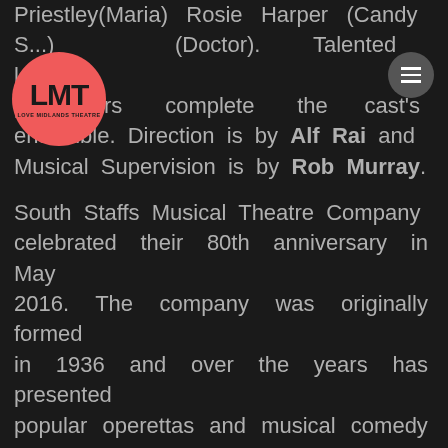Priestley(Maria)  Rosie  Harper  (Candy  S...) and Al... (Doctor). Talented local performers complete the cast's ensemble. Direction is by Alf Rai and Musical Supervision is by Rob Murray.
[Figure (logo): LMT Love Midlands Theatre logo — circular coral/salmon pink circle with black text LMT in bold and smaller text LOVE MIDLANDS THEATRE below]
South Staffs Musical Theatre Company celebrated their 80th anniversary in May 2016. The company was originally formed in 1936 and over the years has presented popular operettas and musical comedy to audiences in Wolverhampton every since. The company perform every year at the Grand Theatre giving everyday people a